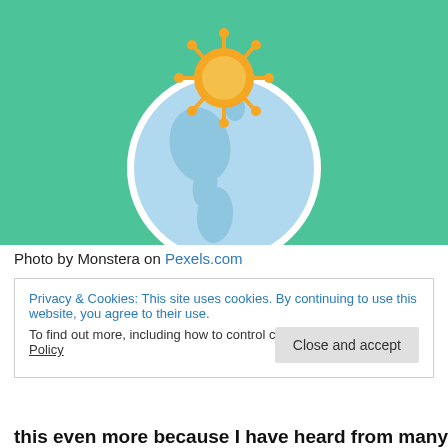[Figure (illustration): Illustration on a green background showing a globe (Earth) in light blue and white, with a coronavirus particle (orange/yellow spiky ball) sitting on top of the globe.]
Photo by Monstera on Pexels.com
Privacy & Cookies: This site uses cookies. By continuing to use this website, you agree to their use.
To find out more, including how to control cookies, see here: Cookie Policy
this even more because I have heard from many sources